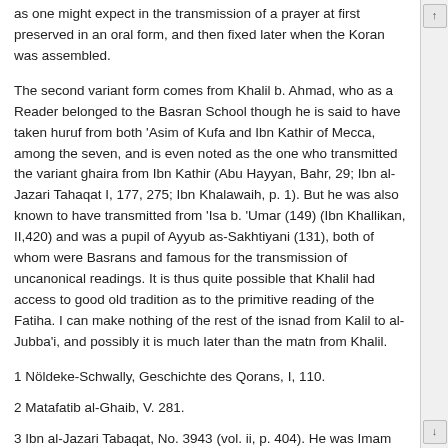as one might expect in the transmission of a prayer at first preserved in an oral form, and then fixed later when the Koran was assembled.
The second variant form comes from Khalil b. Ahmad, who as a Reader belonged to the Basran School though he is said to have taken huruf from both 'Asim of Kufa and Ibn Kathir of Mecca, among the seven, and is even noted as the one who transmitted the variant ghaira from Ibn Kathir (Abu Hayyan, Bahr, 29; Ibn al-Jazari Tahaqat I, 177, 275; Ibn Khalawaih, p. 1). But he was also known to have transmitted from 'Isa b. 'Umar (149) (Ibn Khallikan, II,420) and was a pupil of Ayyub as-Sakhtiyani (131), both of whom were Basrans and famous for the transmission of uncanonical readings. It is thus quite possible that Khalil had access to good old tradition as to the primitive reading of the Fatiha. I can make nothing of the rest of the isnad from Kalil to al-Jubba'i, and possibly it is much later than the matn from Khalil.
1 Nöldeke-Schwally, Geschichte des Qorans, I, 110.
2 Matafatib al-Ghaib, V. 281.
3 Ibn al-Jazari Tabaqat, No. 3943 (vol. ii, p. 404). He was Imam of the mosque at Wasit, and a great authority on the isnads of the Kufan reader 'Asim, and one of the teachers of Abu Bakr an-Naqqash.